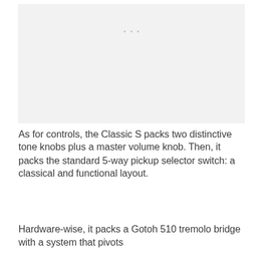[Figure (photo): A light gray placeholder image area with three small gray dots near the top center, indicating an image is present but not fully visible.]
As for controls, the Classic S packs two distinctive tone knobs plus a master volume knob. Then, it packs the standard 5-way pickup selector switch: a classical and functional layout.
Hardware-wise, it packs a Gotoh 510 tremolo bridge with a system that pivots